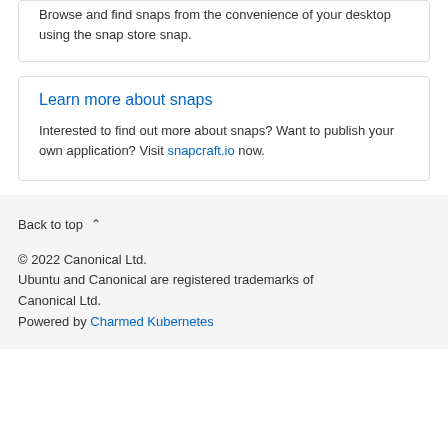Browse and find snaps from the convenience of your desktop using the snap store snap.
Learn more about snaps
Interested to find out more about snaps? Want to publish your own application? Visit snapcraft.io now.
Back to top
© 2022 Canonical Ltd.
Ubuntu and Canonical are registered trademarks of Canonical Ltd.
Powered by Charmed Kubernetes